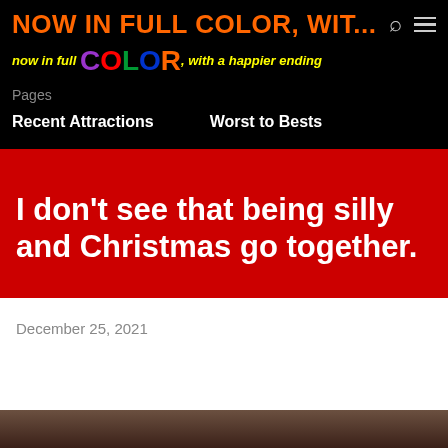NOW IN FULL COLOR, WIT...
[Figure (logo): Blog logo: 'now in full COLOR, with a happier ending' with multicolored stylized text on black background]
Pages
Recent Attractions   Worst to Bests
I don’t see that being silly and Christmas go together.
December 25, 2021
[Figure (photo): Partial image visible at bottom of page, dark tones]